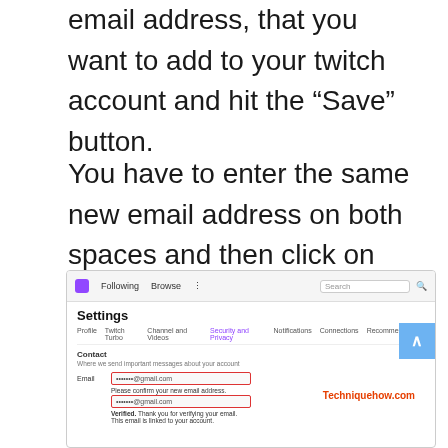email address, that you want to add to your twitch account and hit the “Save” button.
You have to enter the same new email address on both spaces and then click on ‘save’.
[Figure (screenshot): Screenshot of Twitch Settings page showing Security and Privacy tab, Contact section with Email fields highlighted in red border, and Techniquehow.com watermark]